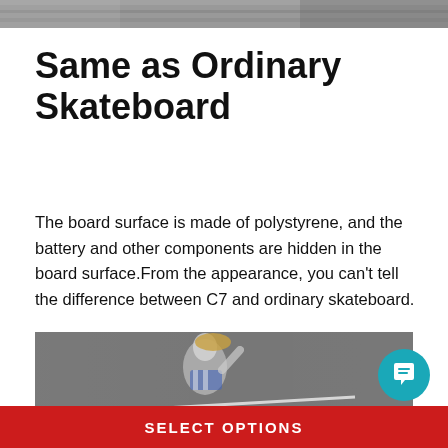[Figure (photo): Top partial photo of a skateboard or skate surface, grayscale/dark tones]
Same as Ordinary Skateboard
The board surface is made of polystyrene, and the battery and other components are hidden in the board surface.From the appearance, you can't tell the difference between C7 and ordinary skateboard.
[Figure (photo): Photo of a person with blond hair skating, wearing a blue and white striped shirt, motion blur, dark asphalt background]
SELECT OPTIONS